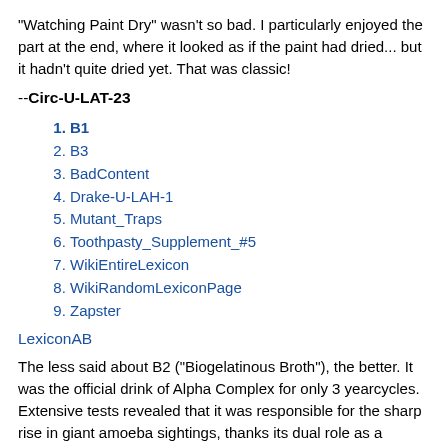"Watching Paint Dry" wasn't so bad. I particularly enjoyed the part at the end, where it looked as if the paint had dried... but it hadn't quite dried yet. That was classic!
--Circ-U-LAT-23
B1
B3
BadContent
Drake-U-LAH-1
Mutant_Traps
Toothpasty_Supplement_#5
WikiEntireLexicon
WikiRandomLexiconPage
Zapster
LexiconAB
The less said about B2 ("Biogelatinous Broth"), the better. It was the official drink of Alpha Complex for only 3 yearcycles. Extensive tests revealed that it was responsible for the sharp rise in giant amoeba sightings, thanks its dual role as a severe hallucinogenic and a bioorganic catalyst.